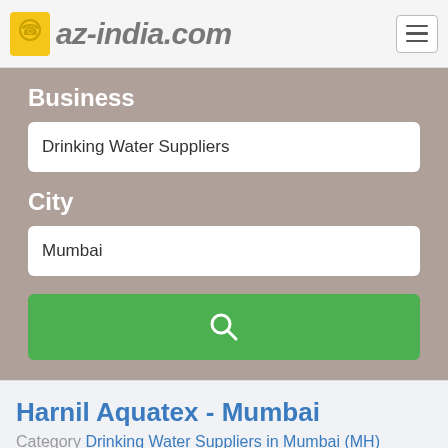az-india.com
Business
Drinking Water Suppliers
City
Mumbai
[Figure (other): Green search button with magnifying glass icon]
Harnil Aquatex - Mumbai
Category Drinking Water Suppliers in Mumbai (MH)
Corporate Drinking Water Suppliers, Industrial Drinking